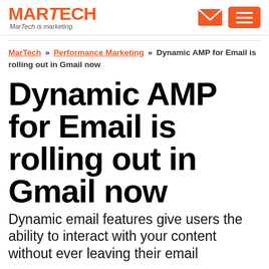MARTECH — MarTech is marketing.
MarTech » Performance Marketing » Dynamic AMP for Email is rolling out in Gmail now
Dynamic AMP for Email is rolling out in Gmail now
Dynamic email features give users the ability to interact with your content without ever leaving their email